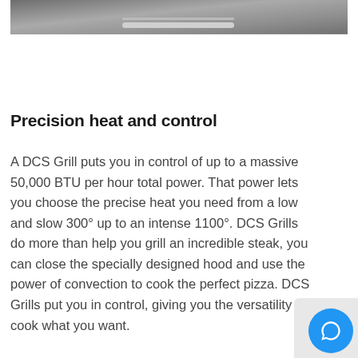[Figure (photo): Partial view of a stainless steel grill drawer with a metal handle, showing the top portion of an outdoor kitchen appliance against a stone/tile background.]
Precision heat and control
A DCS Grill puts you in control of up to a massive 50,000 BTU per hour total power. That power lets you choose the precise heat you need from a low and slow 300° up to an intense 1100°. DCS Grills do more than help you grill an incredible steak, you can close the specially designed hood and use the power of convection to cook the perfect pizza. DCS Grills put you in control, giving you the versatility to cook what you want.